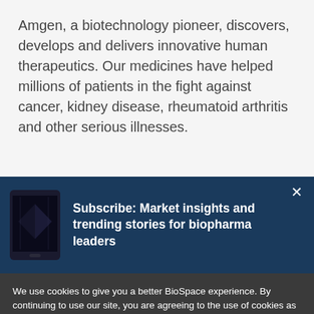Amgen, a biotechnology pioneer, discovers, develops and delivers innovative human therapeutics. Our medicines have helped millions of patients in the fight against cancer, kidney disease, rheumatoid arthritis and other serious illnesses.
[Figure (screenshot): Subscribe banner with dark navy background, showing a smartphone image on the left and bold white text reading 'Subscribe: Market insights and trending stories for biopharma leaders' on the right, with an X close button in the top right corner.]
We use cookies to give you a better BioSpace experience. By continuing to use our site, you are agreeing to the use of cookies as set in our Privacy Policy.
Accept